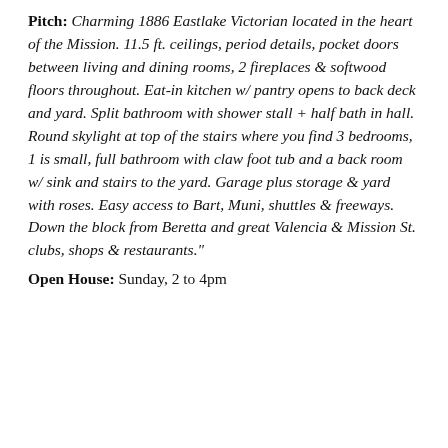Pitch: Charming 1886 Eastlake Victorian located in the heart of the Mission. 11.5 ft. ceilings, period details, pocket doors between living and dining rooms, 2 fireplaces & softwood floors throughout. Eat-in kitchen w/ pantry opens to back deck and yard. Split bathroom with shower stall + half bath in hall. Round skylight at top of the stairs where you find 3 bedrooms, 1 is small, full bathroom with claw foot tub and a back room w/ sink and stairs to the yard. Garage plus storage & yard with roses. Easy access to Bart, Muni, shuttles & freeways. Down the block from Beretta and great Valencia & Mission St. clubs, shops & restaurants."
Open House: Sunday, 2 to 4pm